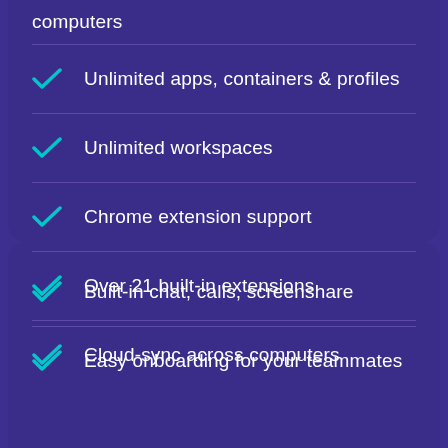computers
Unlimited apps, containers & profiles
Unlimited workspaces
Chrome extension support
Over 21 built-in extensions
Cloud-sync across computers
Built-in chat, calls, screenshare
Easy onboarding for your teammates